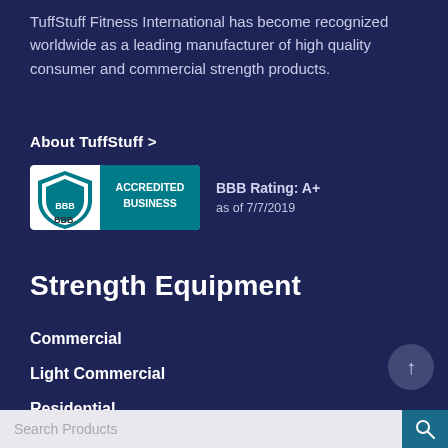TuffStuff Fitness International has become recognized worldwide as a leading manufacturer of high quality consumer and commercial strength products.
About TuffStuff >
[Figure (logo): BBB Accredited Business logo badge with teal and white colors, showing the BBB shield icon and 'ACCREDITED BUSINESS' text]
BBB Rating: A+
as of 7/7/2019
Strength Equipment
Commercial
Light Commercial
Residential
Search Products